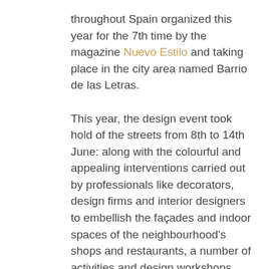throughout Spain organized this year for the 7th time by the magazine Nuevo Estilo and taking place in the city area named Barrio de las Letras.
This year, the design event took hold of the streets from 8th to 14th June: along with the colourful and appealing interventions carried out by professionals like decorators, design firms and interior designers to embellish the façades and indoor spaces of the neighbourhood's shops and restaurants, a number of activities and design workshops also took place gathering thousands of visitors, as they always did in previous editions.